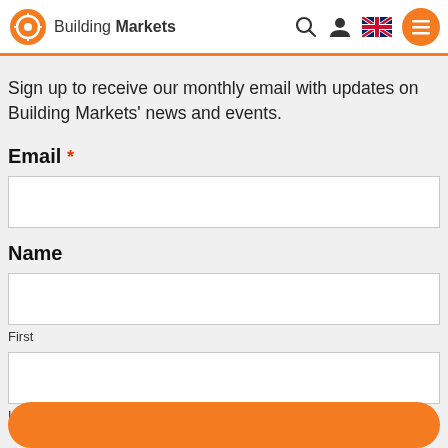Building Markets
Sign up to receive our monthly email with updates on Building Markets' news and events.
Email *
Name
First
Last